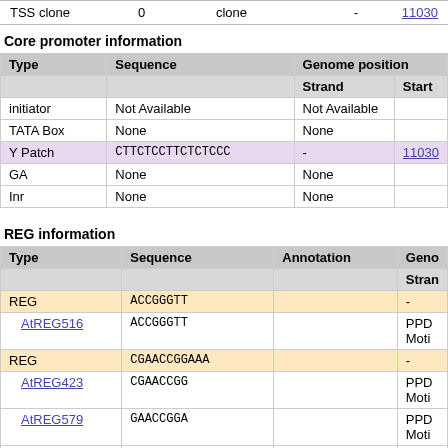| TSS clone |  |  | clone | - | 11030... |
| --- | --- | --- | --- | --- | --- |
Core promoter information
| Type | Sequence | Genome position |  |  |
| --- | --- | --- | --- | --- |
| initiator | Not Available | Not Available |  |
| TATA Box | None | None |  |
| Y Patch | CTTCTCCTTCTCTCCC | - | 11030... |
| GA | None | None |  |
| Inr | None | None |  |
REG information
| Type | Sequence | Annotation | Geno... | Strand |
| --- | --- | --- | --- | --- |
| REG | ACCGGGTT |  | - |  |
| AtREG516 | ACCGGGTT |  | PPD... Moti... |  |
| REG | CGAACCGGAAA |  | - |  |
| AtREG423 | CGAACCGG |  | PPD... Moti... |  |
| AtREG579 | GAACCGGA |  | PPD... Moti... |  |
| AtREG534 | AACCGGAA |  | PPD... |  |
| AtREG... | ACCGGAAA |  | PPD |  |